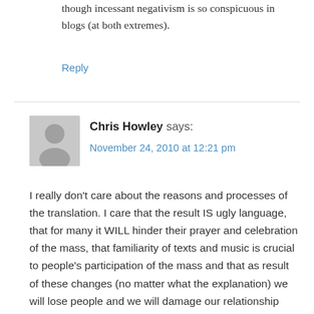though incessant negativism is so conspicuous in blogs (at both extremes).
Reply
Chris Howley says:
November 24, 2010 at 12:21 pm
I really don’t care about the reasons and processes of the translation. I care that the result IS ugly language, that for many it WILL hinder their prayer and celebration of the mass, that familiarity of texts and music is crucial to people’s participation of the mass and that as result of these changes (no matter what the explanation) we will lose people and we will damage our relationship with other Christian Churches.